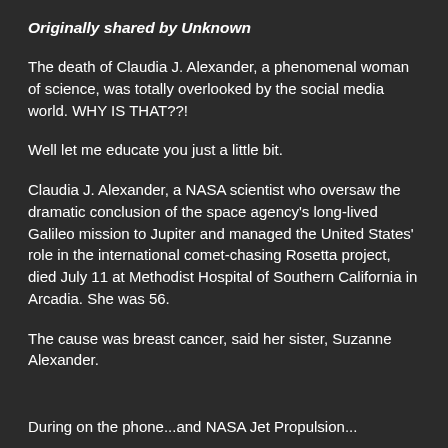Originally shared by Unknown
The death of Claudia J. Alexander, a phenomenal woman of science, was totally overlooked by the social media world. WHY IS THAT??!
Well let me educate you just a little bit.
Claudia J. Alexander, a NASA scientist who oversaw the dramatic conclusion of the space agency's long-lived Galileo mission to Jupiter and managed the United States' role in the international comet-chasing Rosetta project, died July 11 at Methodist Hospital of Southern California in Arcadia. She was 56.
The cause was breast cancer, said her sister, Suzanne Alexander.
During on the phone...and NASA Jet Propulsion...